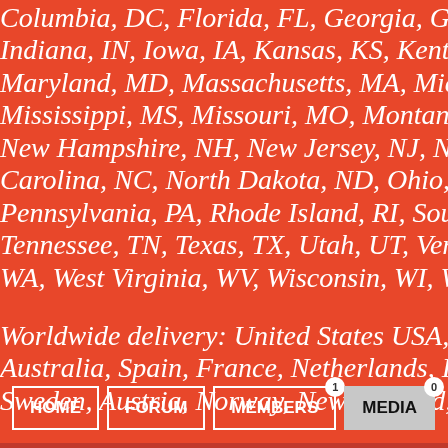Columbia, DC, Florida, FL, Georgia, GA, Hawaii, HI, Idaho, Indiana, IN, Iowa, IA, Kansas, KS, Kentucky, KY, Louisiana, L Maryland, MD, Massachusetts, MA, Michigan, MI, Minnesota Mississippi, MS, Missouri, MO, Montana, MT, Nebraska, NE, New Hampshire, NH, New Jersey, NJ, New Mexico, NM, New Carolina, NC, North Dakota, ND, Ohio, OH, Oklahoma, OK, Pennsylvania, PA, Rhode Island, RI, South Carolina, SC, Sout Tennessee, TN, Texas, TX, Utah, UT, Vermont, VT, Virginia, VA WA, West Virginia, WV, Wisconsin, WI, Wyoming, WY
Worldwide delivery: United States USA, Italy, United Kingdom Australia, Spain, France, Netherlands, Ireland, Switzerland, J Sweden, Austria, Norway, New Zealand, Greece, Belgium
HOME
FORUM
MEMBERS
MEDIA